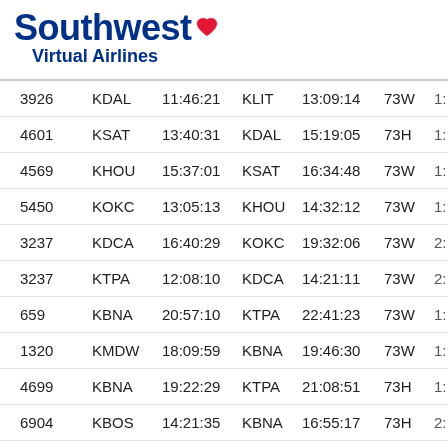[Figure (logo): Southwest Virtual Airlines logo with blue text and red heart symbol]
| Flight | Origin | Dep Time | Dest | Arr Time | Aircraft |  |
| --- | --- | --- | --- | --- | --- | --- |
| 3926 | KDAL | 11:46:21 | KLIT | 13:09:14 | 73W | 1: |
| 4601 | KSAT | 13:40:31 | KDAL | 15:19:05 | 73H | 1: |
| 4569 | KHOU | 15:37:01 | KSAT | 16:34:48 | 73W | 1: |
| 5450 | KOKC | 13:05:13 | KHOU | 14:32:12 | 73W | 1: |
| 3237 | KDCA | 16:40:29 | KOKC | 19:32:06 | 73W | 2: |
| 3237 | KTPA | 12:08:10 | KDCA | 14:21:11 | 73W | 2: |
| 659 | KBNA | 20:57:10 | KTPA | 22:41:23 | 73W | 1: |
| 1320 | KMDW | 18:09:59 | KBNA | 19:46:30 | 73W | 1: |
| 4699 | KBNA | 19:22:29 | KTPA | 21:08:51 | 73H | 1: |
| 6904 | KBOS | 14:21:35 | KBNA | 16:55:17 | 73H | 2: |
| 5396 | KMKE | 17:29:58 | KBOS | 19:47:29 | 73W |  |